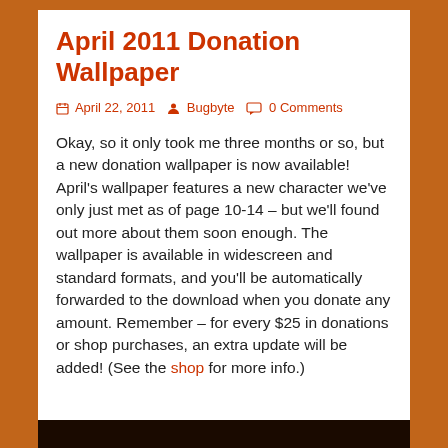April 2011 Donation Wallpaper
April 22, 2011   Bugbyte   0 Comments
Okay, so it only took me three months or so, but a new donation wallpaper is now available! April's wallpaper features a new character we've only just met as of page 10-14 – but we'll found out more about them soon enough. The wallpaper is available in widescreen and standard formats, and you'll be automatically forwarded to the download when you donate any amount. Remember – for every $25 in donations or shop purchases, an extra update will be added! (See the shop for more info.)
[Figure (photo): Dark thumbnail image at the bottom of the page]